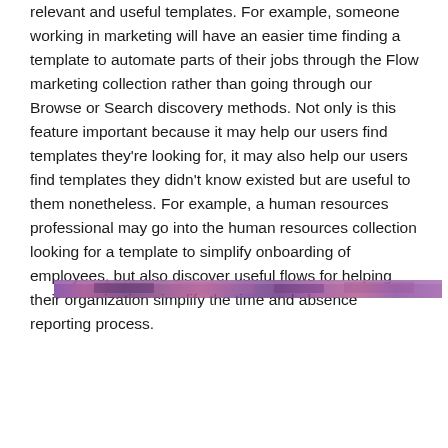relevant and useful templates. For example, someone working in marketing will have an easier time finding a template to automate parts of their jobs through the Flow marketing collection rather than going through our Browse or Search discovery methods. Not only is this feature important because it may help our users find templates they're looking for, it may also help our users find templates they didn't know existed but are useful to them nonetheless. For example, a human resources professional may go into the human resources collection looking for a template to simplify onboarding of employees, but also discover useful flows for helping their organization simplify the time and absence reporting process.
[Figure (photo): A horizontal banner image strip showing a blurred/pixelated scene with purple and pink tones, likely a screenshot of the Flow marketing collection interface.]